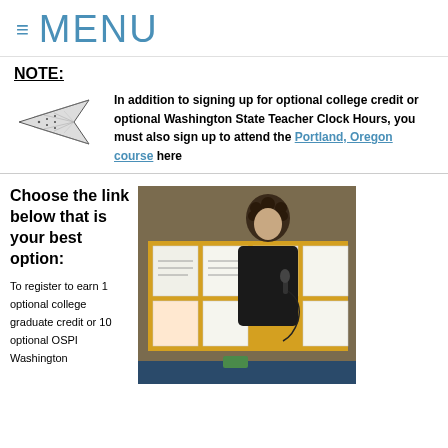≡ MENU
NOTE:
In addition to signing up for optional college credit or optional Washington State Teacher Clock Hours, you must also sign up to attend the Portland, Oregon course here
Choose the link below that is your best option:
To register to earn 1 optional college graduate credit or 10 optional OSPI Washington
[Figure (photo): A woman with curly dark hair wearing a black jacket stands in front of a yellow bulletin board with papers, holding a microphone, speaking to a seated audience.]